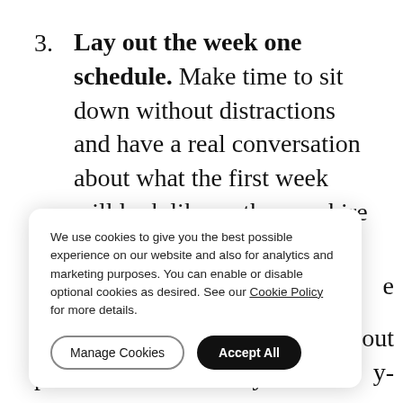3. Lay out the week one schedule. Make time to sit down without distractions and have a real conversation about what the first week will look like so the new hire knows what to expect.
4. Assign a mentor. Nominate a senior member [partially obscured by cookie dialog]
We use cookies to give you the best possible experience on our website and also for analytics and marketing purposes. You can enable or disable optional cookies as desired. See our Cookie Policy for more details.
perform essential daily tasks.